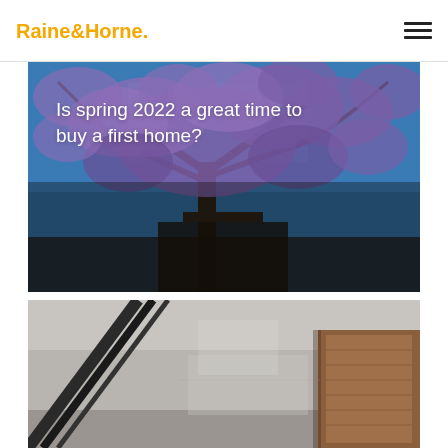Raine&Horne.
[Figure (photo): Jacaranda tree with purple blossoms against a blue sky, used as hero image for article about buying a first home in spring 2022]
Is spring 2022 a great time to buy a first home?
[Figure (photo): Interior architectural photo showing modern home with diagonal lines and wooden accents, partially visible at bottom of page]